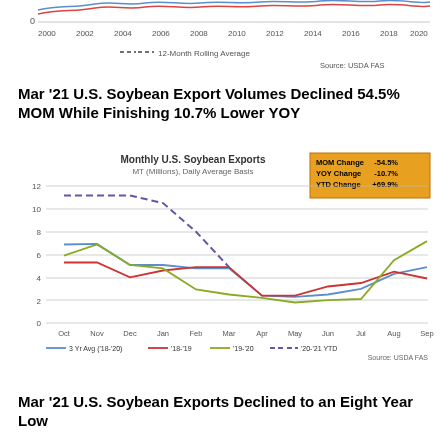[Figure (line-chart): Top portion of a continuous line chart clipped at top of page showing x-axis from 2000 to 2020, y-axis from 0, with 12-Month Rolling Average dashed line. Source: USDA FAS.]
Mar '21 U.S. Soybean Export Volumes Declined 54.5% MOM While Finishing 10.7% Lower YOY
[Figure (line-chart): Monthly U.S. Soybean Exports]
Mar '21 U.S. Soybean Exports Declined to an Eight Year Low